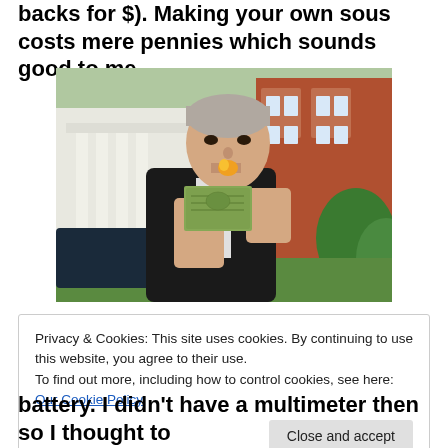backs for $). Making your own sous costs mere pennies which sounds good to me.
[Figure (photo): Middle-aged man in a dark suit outdoors, lighting or kissing a stack of dollar bills, with a brick mansion visible in the background.]
Privacy & Cookies: This site uses cookies. By continuing to use this website, you agree to their use.
To find out more, including how to control cookies, see here: Our Cookie Policy
[Close and accept]
battery. I didn't have a multimeter then so I thought to